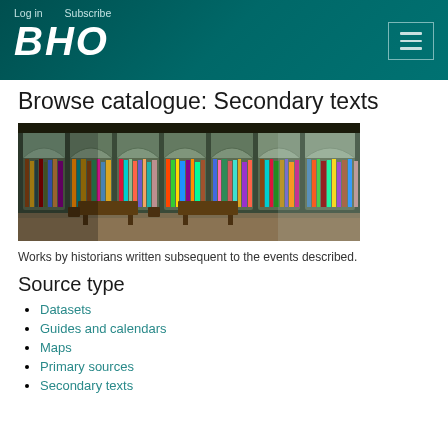Log in   Subscribe
BHO
Browse catalogue: Secondary texts
[Figure (photo): Interior of a large classical library with tall arched windows, floor-to-ceiling bookshelves filled with colourful books, and wooden reading tables and chairs.]
Works by historians written subsequent to the events described.
Source type
Datasets
Guides and calendars
Maps
Primary sources
Secondary texts